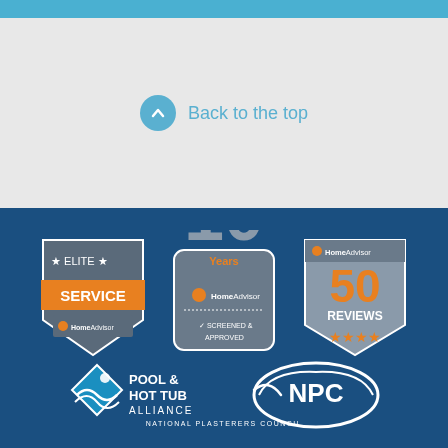Back to the top
[Figure (logo): HomeAdvisor Elite Service badge - shield shape with orange banner reading SERVICE, stars, HomeAdvisor logo]
[Figure (logo): HomeAdvisor 10 Years Screened & Approved badge]
[Figure (logo): HomeAdvisor 50 Reviews badge with 4 stars]
[Figure (logo): Pool & Hot Tub Alliance logo with diamond water icon]
[Figure (logo): NPC National Plasterers Council logo]